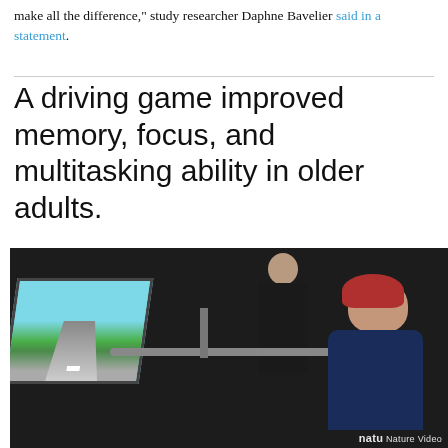make all the difference," study researcher Daphne Bavelier said in a statement.
A driving game improved memory, focus, and multitasking ability in older adults.
[Figure (photo): A researcher standing behind an older adult woman wearing an EEG cap with electrodes, seated at a driving game simulator with a monitor showing a road/driving scene. The image has 'Nature Video' watermark in the bottom right corner.]